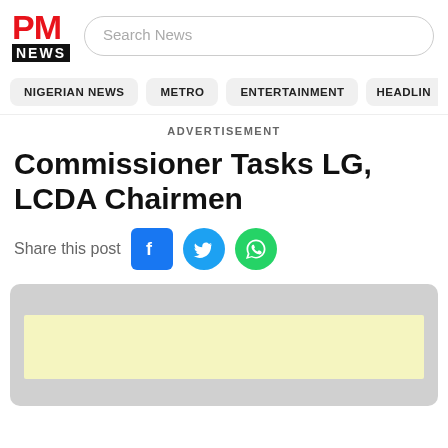[Figure (logo): PM News logo with red PM text and black NEWS banner]
Search News
NIGERIAN NEWS   METRO   ENTERTAINMENT   HEADLIN
ADVERTISEMENT
Commissioner Tasks LG, LCDA Chairmen
Share this post
[Figure (infographic): Gray advertisement placeholder box with light yellow inner rectangle]